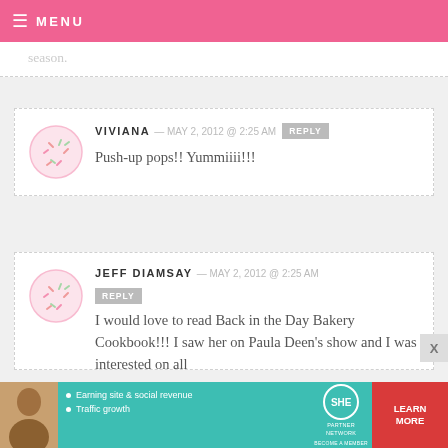MENU
season.
VIVIANA — MAY 2, 2012 @ 2:25 AM
Push-up pops!! Yummiiii!!!
JEFF DIAMSAY — MAY 2, 2012 @ 2:25 AM
I would love to read Back in the Day Bakery Cookbook!!! I saw her on Paula Deen's show and I was interested on all
[Figure (infographic): SHE Partner Network advertisement banner with photo of woman, bullet points: Earning site & social revenue, Traffic growth, SHE logo, LEARN MORE button, BECOME A MEMBER text]